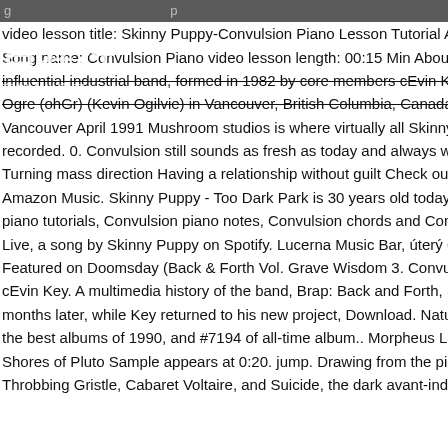g ... p
video lesson title: Skinny Puppy-Convulsion Piano Lesson Tutorial Artist/ Song name: Convulsion Piano video lesson length: 00:15 Min About the influential industrial band, formed in 1982 by core members cEvin Key (K... Ogre (ohGr) (Kevin Ogilvie) in Vancouver, British Columbia, Canada. Tak... Vancouver April 1991 Mushroom studios is where virtually all Skinny Pup... recorded. 0. Convulsion still sounds as fresh as today and always will. H... Turning mass direction Having a relationship without guilt Check out Con... Amazon Music. Skinny Puppy - Too Dark Park is 30 years old today. Her... piano tutorials, Convulsion piano notes, Convulsion chords and Convulsi... Live, a song by Skinny Puppy on Spotify. Lucerna Music Bar, úterý 6. Co... Featured on Doomsday (Back & Forth Vol. Grave Wisdom 3. Convulsion... cEvin Key. A multimedia history of the band, Brap: Back and Forth, Serie... months later, while Key returned to his new project, Download. Nature's ... the best albums of 1990, and #7194 of all-time album.. Morpheus Laugh... Shores of Pluto Sample appears at 0:20. jump. Drawing from the pionee... Throbbing Gristle, Cabaret Voltaire, and Suicide, the dark avant-industri...